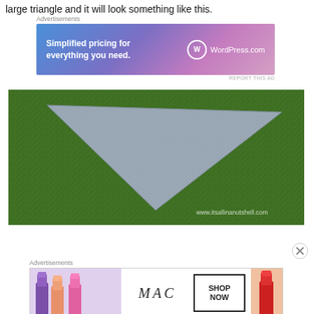large triangle and it will look something like this.
[Figure (infographic): WordPress.com advertisement banner with gradient blue-purple-pink background. Text reads 'Simplified pricing for everything you need.' with WordPress.com logo on the right.]
[Figure (photo): A grey knitted triangular shawl laid flat on green grass. The shawl is a large triangle shape with textured knit pattern. Watermark reads www.itsallinanutshell.com.]
[Figure (infographic): MAC cosmetics advertisement showing lipsticks on left, MAC logo in center, SHOP NOW box, and red lipstick on right.]